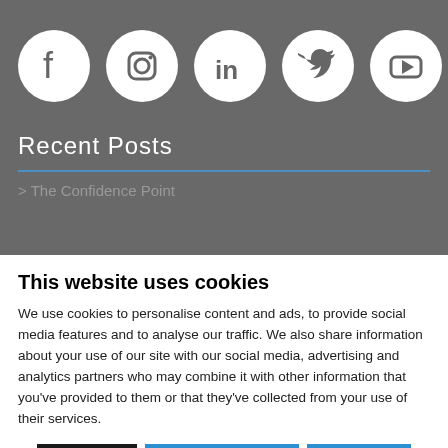[Figure (illustration): Five social media icons (Facebook, Instagram, LinkedIn, Twitter, YouTube) as white circles with icons on a dark gray background]
Recent Posts
> The Confidence Point
This website uses cookies
We use cookies to personalise content and ads, to provide social media features and to analyse our traffic. We also share information about your use of our site with our social media, advertising and analytics partners who may combine it with other information that you've provided to them or that they've collected from your use of their services.
Deny | Allow selection | Allow all
Necessary  Preferences  Statistics  Marketing  Show details